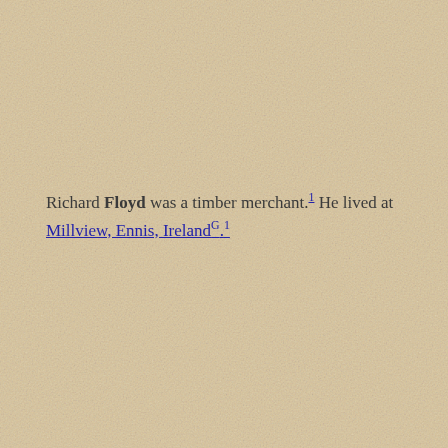Richard Floyd was a timber merchant.1 He lived at Millview, Ennis, IrelandG.1